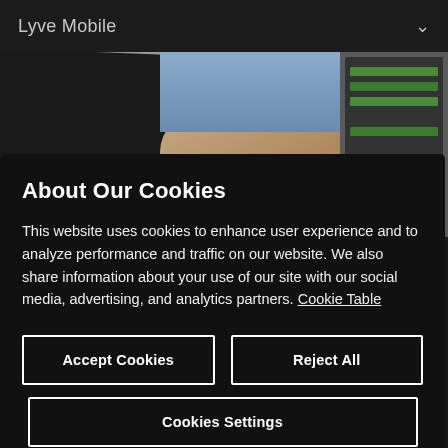Lyve Mobile
[Figure (photo): Person typing on a laptop keyboard, with a server rack visible on the right side]
About Our Cookies
This website uses cookies to enhance user experience and to analyze performance and traffic on our website. We also share information about your use of our site with our social media, advertising, and analytics partners. Cookie Table
Accept Cookies
Reject All
Cookies Settings